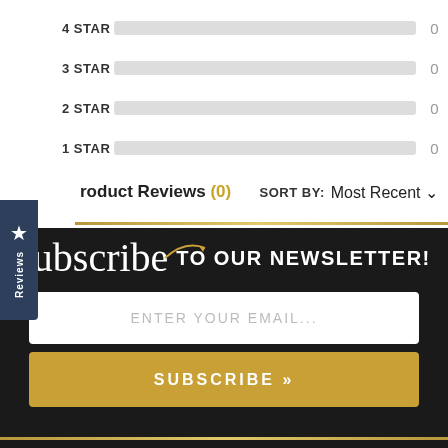[Figure (infographic): Star rating bars for 4 STAR, 3 STAR, 2 STAR, 1 STAR — all showing 0 count with empty gray bars]
Product Reviews (0)
SORT BY: Most Recent
[Figure (infographic): Blue Reviews sidebar tab with star icon and vertical text 'Reviews']
[Figure (infographic): Black newsletter subscription section with 'subscribe TO OUR NEWSLETTER!' heading, email input box placeholder 'ENTER YOUR EMAIL...' and gold SUBSCRIBE button]
ENTER YOUR EMAIL...
SUBSCRIBE »